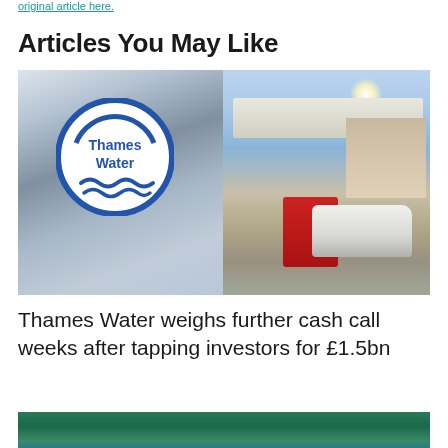original article here.
Articles You May Like
[Figure (photo): Split image: left side shows a Thames Water vehicle with the company's blue circular logo; right side shows a petrol station forecourt with a white SUV, red safety barriers, and a house in the background on a sunny day.]
Thames Water weighs further cash call weeks after tapping investors for £1.5bn
[Figure (photo): Partial view of a second article image, showing figures in teal/green clothing.]